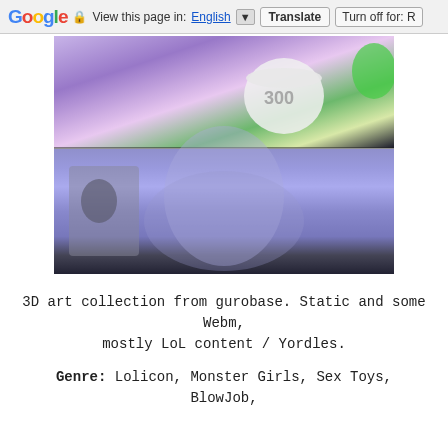Google  View this page in: English [▼]  Translate  Turn off for: R
[Figure (photo): Two 3D rendered images stacked vertically showing animated fantasy characters with purple/blue coloring, lingerie clothing with dragonfly patterns, and a white cake with '300' text visible in the top image.]
3D art collection from gurobase. Static and some Webm, mostly LoL content / Yordles.
Genre: Lolicon, Monster Girls, Sex Toys, BlowJob,